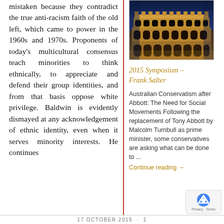mistaken because they contradict the true anti-racism faith of the old left, which came to power in the 1960s and 1970s. Proponents of today's multicultural consensus teach minorities to think ethnically, to appreciate and defend their group identities, and from that basis oppose white privilege. Baldwin is evidently dismayed at any acknowledgement of ethnic identity, even when it serves minority interests. He continues
[Figure (photo): Photograph of the Colosseum in Rome at night, illuminated with warm golden lights against a blue evening sky]
2015 Symposium – Frank Salter
Australian Conservatism after Abbott: The Need for Social Movements Following the replacement of Tony Abbott by Malcolm Turnbull as prime minister, some conservatives are asking what can be done to ...
Continue reading →
17 OCTOBER 2015 · 1